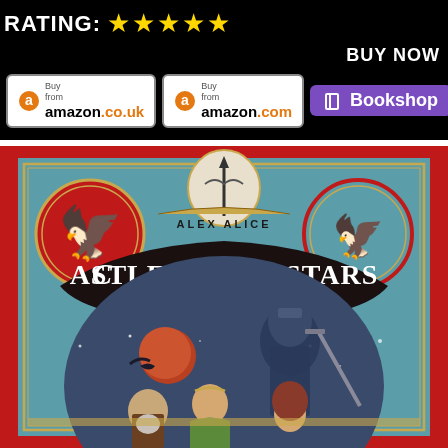RATING: ★★★★½
BUY NOW
[Figure (illustration): Buy from Amazon.co.uk button]
[Figure (illustration): Buy from Amazon.com button]
[Figure (illustration): Bookshop button]
[Figure (illustration): Book cover: Castle in the Stars - The Knights of Mars by Alex Alice. Red border, teal background, featuring a large armored knight figure, characters in foreground, red moon, heraldic eagle emblems on left and right, ornate title lettering.]